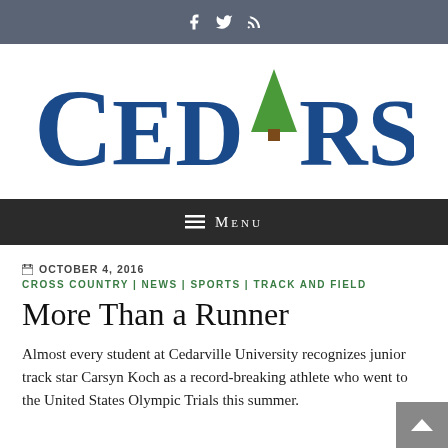Social media icons bar (Facebook, Twitter, RSS)
[Figure (logo): CEDARS publication logo with green tree replacing the letter A, text in dark blue serif font]
☰ Menu
OCTOBER 4, 2016
CROSS COUNTRY | NEWS | SPORTS | TRACK AND FIELD
More Than a Runner
Almost every student at Cedarville University recognizes junior track star Carsyn Koch as a record-breaking athlete who went to the United States Olympic Trials this summer.